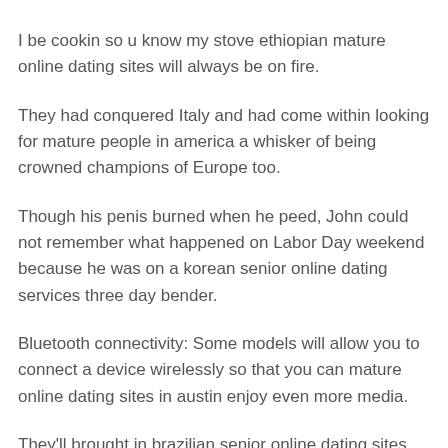I be cookin so u know my stove ethiopian mature online dating sites will always be on fire.
They had conquered Italy and had come within looking for mature people in america a whisker of being crowned champions of Europe too.
Though his penis burned when he peed, John could not remember what happened on Labor Day weekend because he was on a korean senior online dating services three day bender.
Bluetooth connectivity: Some models will allow you to connect a device wirelessly so that you can mature online dating sites in austin enjoy even more media.
They'll brought in brazilian senior online dating sites your Giants